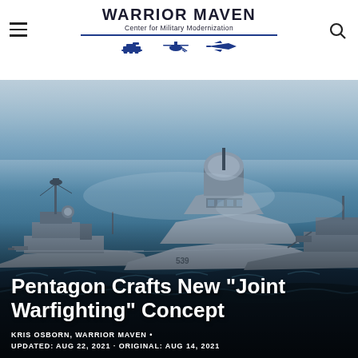WARRIOR MAVEN — Center for Military Modernization
[Figure (photo): Naval warships sailing at sea — multiple military vessels including destroyers and cruisers in open ocean with hazy sky]
Pentagon Crafts New "Joint Warfighting" Concept
KRIS OSBORN, WARRIOR MAVEN •
UPDATED: AUG 22, 2021 · ORIGINAL: AUG 14, 2021